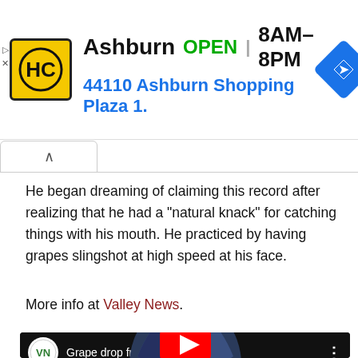[Figure (screenshot): Ad banner for Haircut place HC in Ashburn, showing logo, OPEN status, hours 8AM-8PM, address 44110 Ashburn Shopping Plaza 1., and navigation icon]
He began dreaming of claiming this record after realizing that he had a "natural knack" for catching things with his mouth. He practiced by having grapes slingshot at high speed at his face.
More info at Valley News.
[Figure (screenshot): YouTube video thumbnail showing a hot air balloon against a cloudy sky, titled 'Grape drop from hot air ballo...' from Valley News (VN) channel]